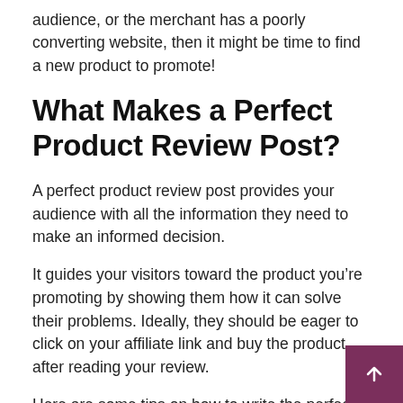audience, or the merchant has a poorly converting website, then it might be time to find a new product to promote!
What Makes a Perfect Product Review Post?
A perfect product review post provides your audience with all the information they need to make an informed decision.
It guides your visitors toward the product you’re promoting by showing them how it can solve their problems. Ideally, they should be eager to click on your affiliate link and buy the product after reading your review.
Here are some tips on how to write the perfect product review: